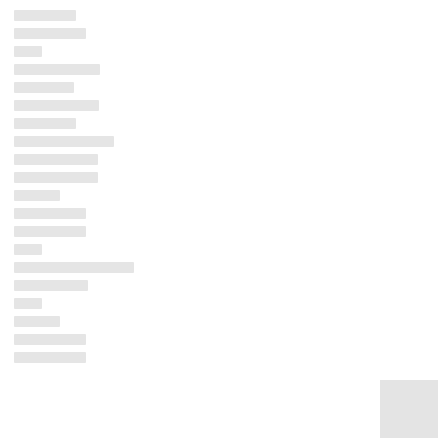[redacted line 1]
[redacted line 2]
[redacted line 3]
[redacted line 4]
[redacted line 5]
[redacted line 6]
[redacted line 7]
[redacted line 8]
[redacted line 9]
[redacted line 10]
[redacted line 11]
[redacted line 12]
[redacted line 13]
[redacted line 14]
[redacted line 15]
[redacted line 16]
[redacted line 17]
[redacted line 18]
[redacted line 19]
[redacted line 20]
[redacted line 21]
page number